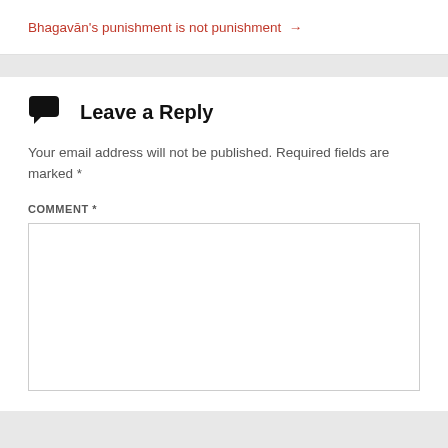Bhagavān's punishment is not punishment →
Leave a Reply
Your email address will not be published. Required fields are marked *
COMMENT *